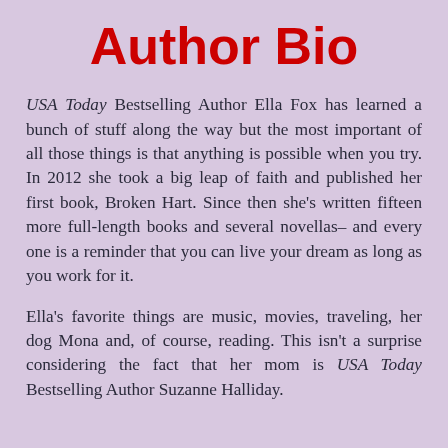Author Bio
USA Today Bestselling Author Ella Fox has learned a bunch of stuff along the way but the most important of all those things is that anything is possible when you try. In 2012 she took a big leap of faith and published her first book, Broken Hart. Since then she's written fifteen more full-length books and several novellas– and every one is a reminder that you can live your dream as long as you work for it.
Ella's favorite things are music, movies, traveling, her dog Mona and, of course, reading. This isn't a surprise considering the fact that her mom is USA Today Bestselling Author Suzanne Halliday.